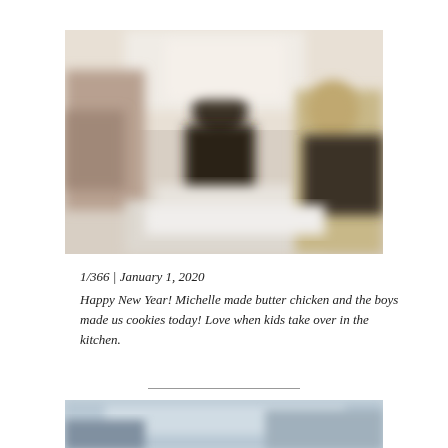[Figure (photo): Blurred photo of people in a kitchen, possibly baking cookies. Two figures visible, one in dark clothing in center, one on right side. Kitchen items on counter.]
1/366 | January 1, 2020
Happy New Year! Michelle made butter chicken and the boys made us cookies today! Love when kids take over in the kitchen.
[Figure (photo): Partial blurred photo at bottom of page, appears to be another kitchen or indoor scene.]